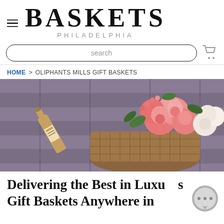BASKETS PHILADELPHIA
search
HOME > OLIPHANTS MILLS GIFT BASKETS
[Figure (photo): A wicker basket with a bottle and large bouquet of pink, coral, and white roses/flowers on a wooden plank background]
Delivering the Best in Luxury Gift Baskets Anywhere in